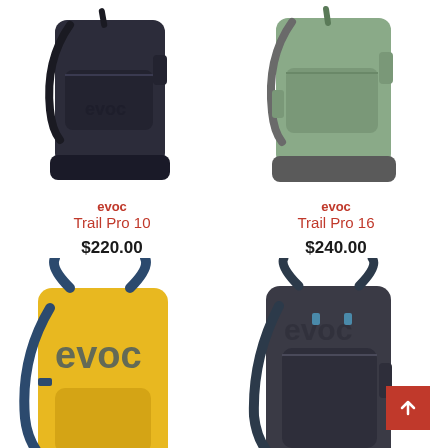[Figure (photo): EVOC Trail Pro 10 black backpack product photo]
evoc
Trail Pro 10
$220.00
[Figure (photo): EVOC Trail Pro 16 light green backpack product photo]
evoc
Trail Pro 16
$240.00
[Figure (photo): EVOC yellow and navy backpack product photo]
[Figure (photo): EVOC black backpack product photo]